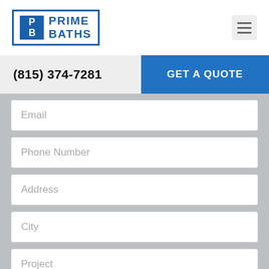[Figure (logo): Prime Baths logo with blue PB icon and blue text reading PRIME BATHS]
(815) 374-7281
GET A QUOTE
Email
Phone Number
Address
City
Project
GET A FREE QUOTE